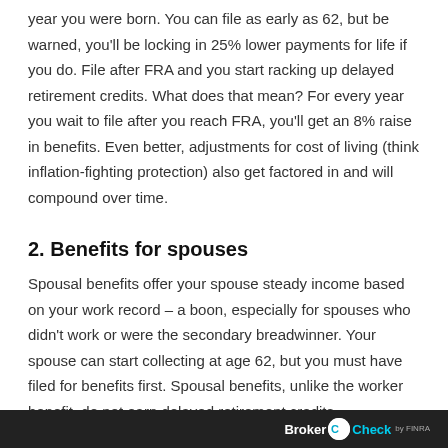year you were born. You can file as early as 62, but be warned, you'll be locking in 25% lower payments for life if you do. File after FRA and you start racking up delayed retirement credits. What does that mean? For every year you wait to file after you reach FRA, you'll get an 8% raise in benefits. Even better, adjustments for cost of living (think inflation-fighting protection) also get factored in and will compound over time.
2. Benefits for spouses
Spousal benefits offer your spouse steady income based on your work record – a boon, especially for spouses who didn't work or were the secondary breadwinner. Your spouse can start collecting at age 62, but you must have filed for benefits first. Spousal benefits, unlike the worker benefit, do not earn delayed retirement credits...
BrokerCheck FINRA